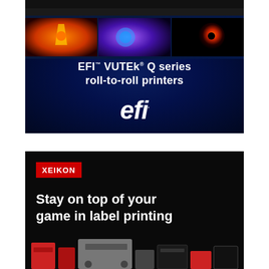[Figure (illustration): EFI VUTEk Q series roll-to-roll printers advertisement. Dark blue starfield background with three image panels showing colorful print outputs (rocket/orange, space planet, black hole/orange). White bold text reads: EFI™ VUTEk® Q series roll-to-roll printers. White italic EFI logo at bottom.]
[Figure (illustration): Xeikon advertisement. Black background. Red rectangle badge with white text XEIKON. Large bold white text: Stay on top of your game in label printing. Bottom shows red and grey Xeikon printing machines.]